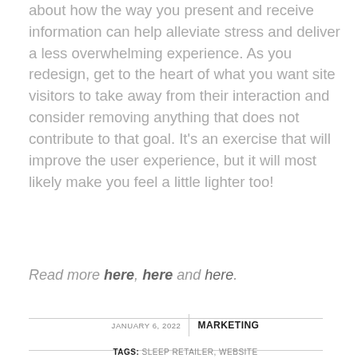about how the way you present and receive information can help alleviate stress and deliver a less overwhelming experience. As you redesign, get to the heart of what you want site visitors to take away from their interaction and consider removing anything that does not contribute to that goal. It's an exercise that will improve the user experience, but it will most likely make you feel a little lighter too!
Read more here, here and here.
JANUARY 6, 2022   MARKETING
TAGS: SLEEP RETAILER, WEBSITE